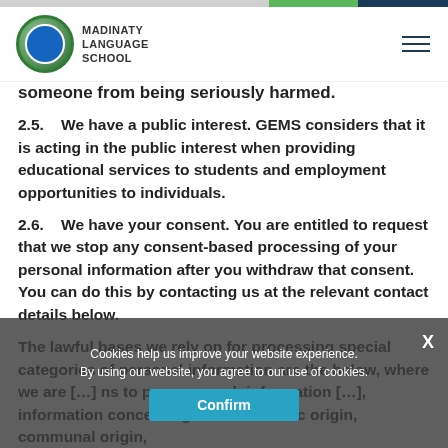MADINATY LANGUAGE SCHOOL
someone from being seriously harmed.
2.5.    We have a public interest. GEMS considers that it is acting in the public interest when providing educational services to students and employment opportunities to individuals.
2.6.    We have your consent. You are entitled to request that we stop any consent-based processing of your personal information after you withdraw that consent. You can do this by contacting us at the relevant contact details below.
The lawful bases we rely on for processing special categories of personal information are the below, where we are [obscured by cookie banner] ns to process such information [obscured], information concerning racial or ethnic origin, communal origin,
Cookies help us improve your website experience. By using our website, you agree to our use of cookies.